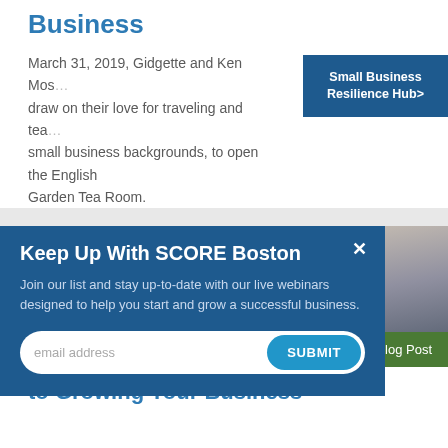Business
March 31, 2019, Gidgette and Ken Mos... draw on their love for traveling and tea... small business backgrounds, to open the English Garden Tea Room.
Small Business Resilience Hub>
Keep Up With SCORE Boston
Join our list and stay up-to-date with our live webinars designed to help you start and grow a successful business.
email address
SUBMIT
[Figure (photo): Photo of person at a desk with laptop and financial charts]
Blog Post
Web Analytics: The Secret to Growing Your Business